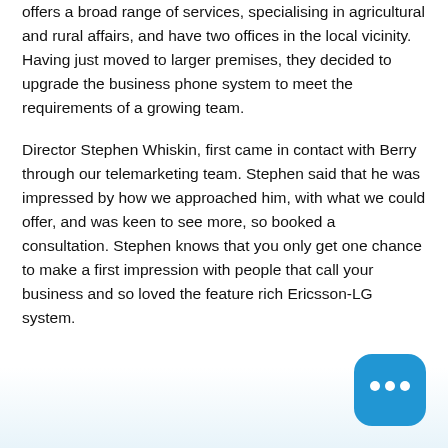offers a broad range of services, specialising in agricultural and rural affairs, and have two offices in the local vicinity. Having just moved to larger premises, they decided to upgrade the business phone system to meet the requirements of a growing team.
Director Stephen Whiskin, first came in contact with Berry through our telemarketing team. Stephen said that he was impressed by how we approached him, with what we could offer, and was keen to see more, so booked a consultation. Stephen knows that you only get one chance to make a first impression with people that call your business and so loved the feature rich Ericsson-LG system.
[Figure (illustration): Blue rounded square chat bubble icon with three dots inside, positioned at bottom right corner]